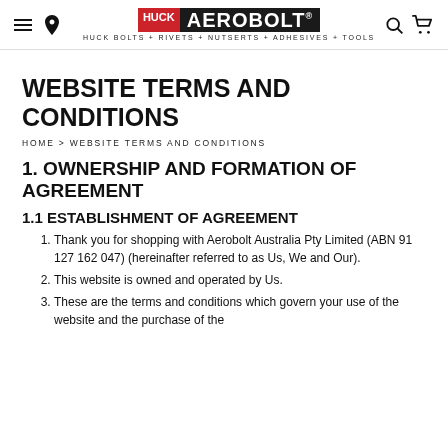HUCK AEROBOLT® — HUCK BOLTS + RIVETS + NUTSERTS + ADHESIVES + TOOLS
WEBSITE TERMS AND CONDITIONS
HOME > WEBSITE TERMS AND CONDITIONS
1. OWNERSHIP AND FORMATION OF AGREEMENT
1.1 ESTABLISHMENT OF AGREEMENT
Thank you for shopping with Aerobolt Australia Pty Limited (ABN 91 127 162 047) (hereinafter referred to as Us, We and Our).
This website is owned and operated by Us.
These are the terms and conditions which govern your use of the website and the purchase of the